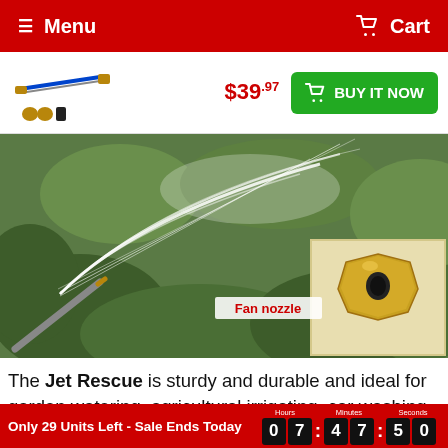Menu | Cart
[Figure (photo): Product thumbnail showing a pressure washer wand with spray nozzle attachments]
$39.97
BUY IT NOW
[Figure (photo): Outdoor garden scene showing high-pressure water spray from a jet wand nozzle over green hedge bushes. Inset shows close-up of a brass fan nozzle with label 'Fan nozzle'.]
The Jet Rescue is sturdy and durable and ideal for garden watering, agricultural irrigating, car washing, household cleaning and so on.
Only 29 Units Left - Sale Ends Today  07:47:50